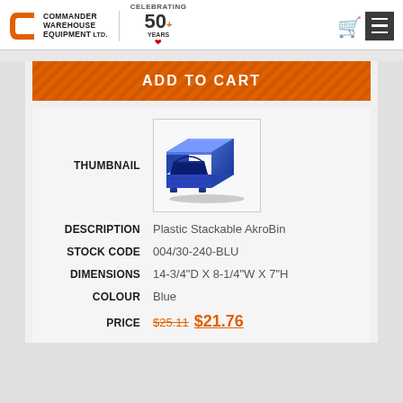[Figure (logo): Commander Warehouse Equipment Ltd. logo with C icon and Celebrating 50+ Years badge]
[Figure (photo): Blue plastic stackable AkroBin storage bin]
THUMBNAIL
ADD TO CART
| DESCRIPTION | Plastic Stackable AkroBin |
| STOCK CODE | 004/30-240-BLU |
| DIMENSIONS | 14-3/4"D X 8-1/4"W X 7"H |
| COLOUR | Blue |
| PRICE | $25.11  $21.76 |